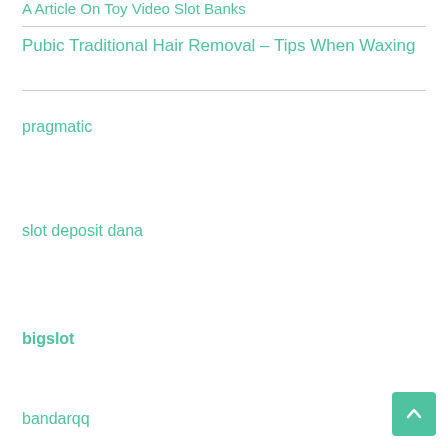A Article On Toy Video Slot Banks
Pubic Traditional Hair Removal – Tips When Waxing
pragmatic
slot deposit dana
bigslot
bandarqq